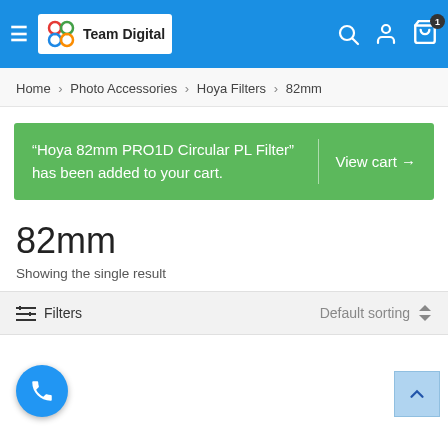Team Digital - navigation header with hamburger menu, logo, search, account, and cart icons
Home > Photo Accessories > Hoya Filters > 82mm
"Hoya 82mm PRO1D Circular PL Filter" has been added to your cart. View cart →
82mm
Showing the single result
≡ Filters   Default sorting ◆